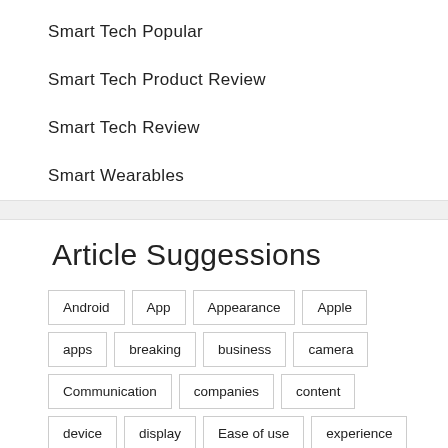Smart Tech Popular
Smart Tech Product Review
Smart Tech Review
Smart Wearables
Article Suggessions
Android
App
Appearance
Apple
apps
breaking
business
camera
Communication
companies
content
device
display
Ease of use
experience